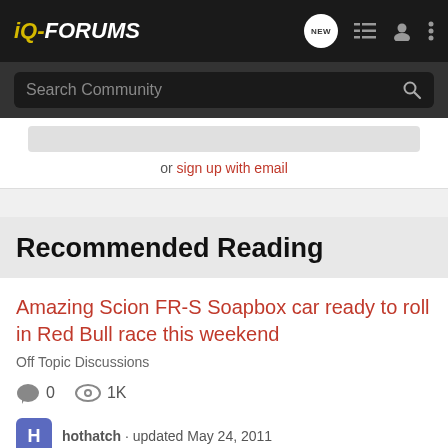iQ-FORUMS
Search Community
or sign up with email
Recommended Reading
Amazing Scion FR-S Soapbox car ready to roll in Red Bull race this weekend
Off Topic Discussions
0  1K
hothatch · updated May 24, 2011